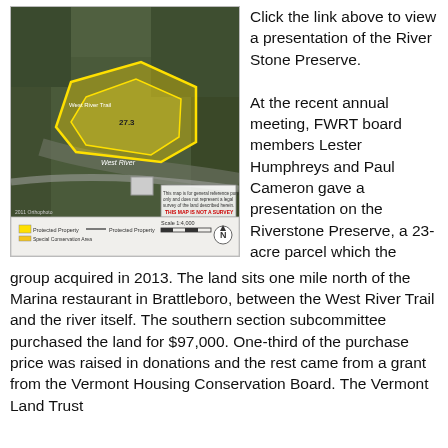[Figure (map): Aerial/satellite map image of the River Stone Preserve showing a yellow outlined parcel along the West River, with legend, scale bar, and north arrow at the bottom. Labels include 'West River Trail' and 'West River'. Red text at bottom right reads 'THIS MAP IS NOT A SURVEY'. Date '2011 Orthophoto' visible at lower left.]
Click the link above to view a presentation of the River Stone Preserve.
At the recent annual meeting, FWRT board members Lester Humphreys and Paul Cameron gave a presentation on the Riverstone Preserve, a 23-acre parcel which the group acquired in 2013. The land sits one mile north of the Marina restaurant in Brattleboro, between the West River Trail and the river itself. The southern section subcommittee purchased the land for $97,000. One-third of the purchase price was raised in donations and the rest came from a grant from the Vermont Housing Conservation Board. The Vermont Land Trust